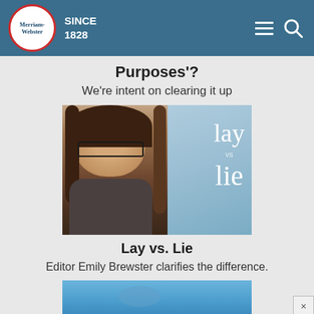Merriam-Webster SINCE 1828
Purposes'?
We're intent on clearing it up
[Figure (photo): Video thumbnail showing a woman with glasses and brown hair against a light blue background, with text 'lay vs lie' on the right side]
Lay vs. Lie
Editor Emily Brewster clarifies the difference.
[Figure (photo): Partial blue image at the bottom, partially cut off]